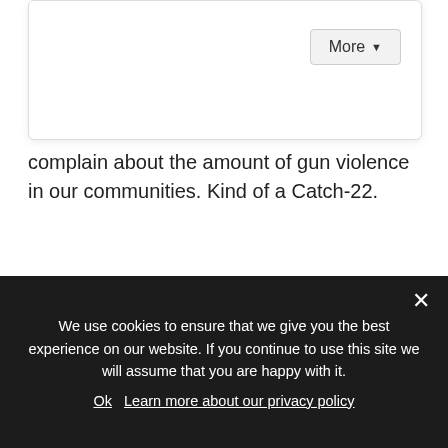[Figure (screenshot): White card UI element with 'More' dropdown button in top right corner]
complain about the amount of gun violence in our communities. Kind of a Catch-22.
And yes, I know how to shoot a gun.
3. Is racism STILL such a
[Figure (screenshot): Follow me on: popup overlay with social media icons (Facebook, Instagram, Pinterest, Twitter, Bloglovin, RSS) and close button, plus partially visible 'Or sign up to my newsletter' text]
We use cookies to ensure that we give you the best experience on our website. If you continue to use this site we will assume that you are happy with it.
Ok   Learn more about our privacy policy